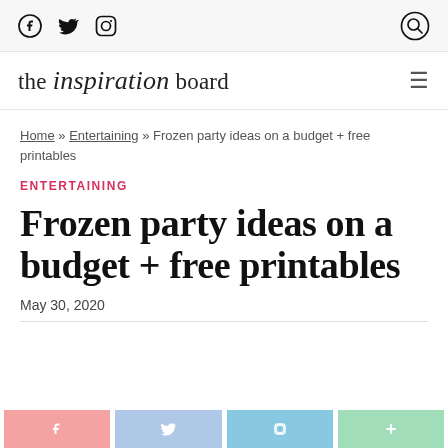Social icons: Facebook, Twitter, Instagram | Search icon
[Figure (logo): The Inspiration Board site logo with script font for 'inspiration' and hamburger menu icon]
Home » Entertaining » Frozen party ideas on a budget + free printables
ENTERTAINING
Frozen party ideas on a budget + free printables
May 30, 2020